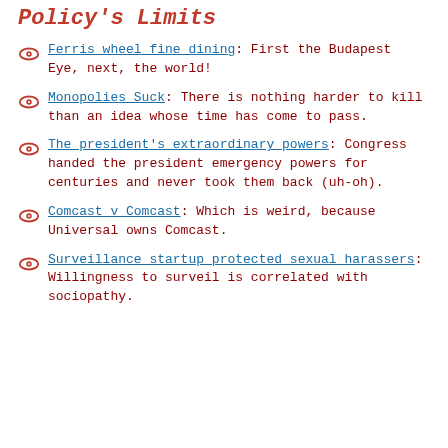Policy's Limits
Ferris wheel fine dining: First the Budapest Eye, next, the world!
Monopolies Suck: There is nothing harder to kill than an idea whose time has come to pass.
The president's extraordinary powers: Congress handed the president emergency powers for centuries and never took them back (uh-oh).
Comcast v Comcast: Which is weird, because Universal owns Comcast.
Surveillance startup protected sexual harassers: Willingness to surveil is correlated with sociopathy.